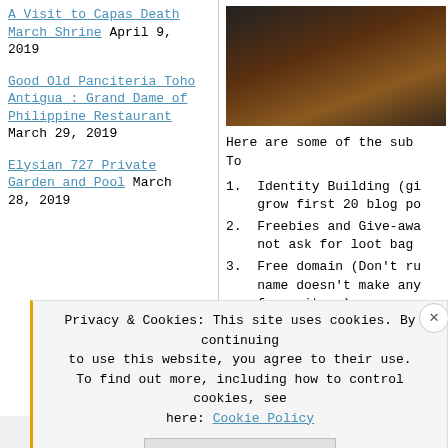A Visit to Capas Death March Shrine April 9, 2019
Good Old Panciteria Toho Antigua : Grand Dame of Philippine Restaurant March 29, 2019
Elysian 727 Private Garden and Pool March 28, 2019
[Figure (photo): Dark photo of a room or venue interior]
Here are some of the sub- To
1. Identity Building (gi grow first 20 blog po
2. Freebies and Give-awa not ask for loot bag
3. Free domain (Don't ru name doesn't make any free sites.)
4. Tyrant bloggers
Privacy & Cookies: This site uses cookies. By continuing to use this website, you agree to their use. To find out more, including how to control cookies, see here: Cookie Policy
All in One Free App    DuckDuckGo